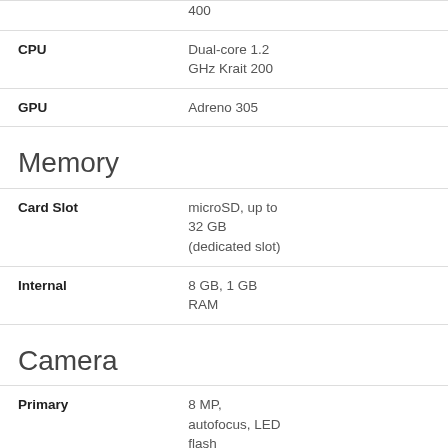|  | 400 |
| CPU | Dual-core 1.2 GHz Krait 200 |
| GPU | Adreno 305 |
Memory
| Card Slot | microSD, up to 32 GB (dedicated slot) |
| Internal | 8 GB, 1 GB RAM |
Camera
| Primary | 8 MP, autofocus, LED flash |
| Features | Geo-tagging |